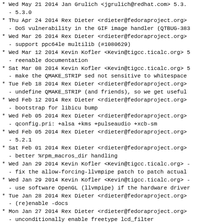* Wed May 21 2014 Jan Grulich <jgrulich@redhat.com> 5.3.
  - 5.3.0
* Thu Apr 24 2014 Rex Dieter <rdieter@fedoraproject.org>
  - DoS vulnerability in the GIF image handler (QTBUG-383
* Wed Mar 26 2014 Rex Dieter <rdieter@fedoraproject.org>
  - support ppc64le multilib (#1080629)
* Wed Mar 12 2014 Kevin Kofler <Kevin@tigcc.ticalc.org> 5
  - reenable documentation
* Sat Mar 08 2014 Kevin Kofler <Kevin@tigcc.ticalc.org> 5
  - make the QMAKE_STRIP sed not sensitive to whitespace
* Tue Feb 18 2014 Rex Dieter <rdieter@fedoraproject.org>
  - undefine QMAKE_STRIP (and friends), so we get useful
* Wed Feb 12 2014 Rex Dieter <rdieter@fedoraproject.org>
  - bootstrap for libicu bump
* Wed Feb 05 2014 Rex Dieter <rdieter@fedoraproject.org>
  - qconfig.pri: +alsa +kms +pulseaudio +xcb-sm
* Wed Feb 05 2014 Rex Dieter <rdieter@fedoraproject.org>
  - 5.2.1
* Sat Feb 01 2014 Rex Dieter <rdieter@fedoraproject.org>
  - better %rpm_macros_dir handling
* Wed Jan 29 2014 Kevin Kofler <Kevin@tigcc.ticalc.org> -
  - fix the allow-forcing-llvmpipe patch to patch actual
* Wed Jan 29 2014 Kevin Kofler <Kevin@tigcc.ticalc.org> -
  - use software OpenGL (llvmpipe) if the hardware driver
* Tue Jan 28 2014 Rex Dieter <rdieter@fedoraproject.org>
  - (re)enable -docs
* Mon Jan 27 2014 Rex Dieter <rdieter@fedoraproject.org>
  - unconditionally enable freetype lcd_filter
  - (temp) disable docs (libxcb bootstrap)
* Sun Jan 26 2014 Rex Dieter <rdieter@fedoraproject.org>